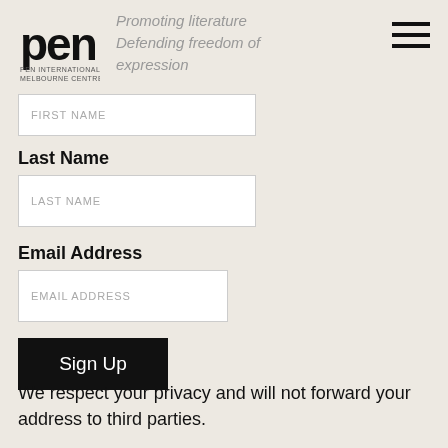[Figure (logo): PEN International Melbourne Centre logo — bold lowercase 'pen' text with small text below]
Promoting literature Defending freedom of expression
FIRST NAME
Last Name
LAST NAME
Email Address
EMAIL ADDRESS
Sign Up
We respect your privacy and will not forward your address to third parties.